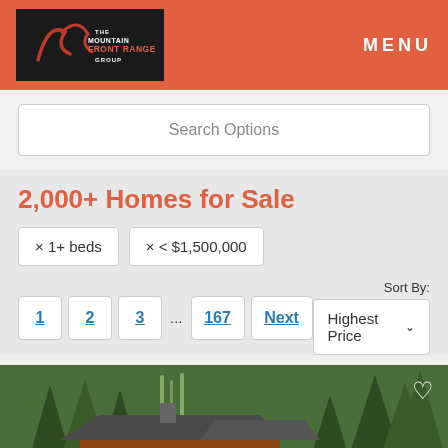MENU
Search Options
2,000+ Homes for Sale
× 1+ beds
× < $1,500,000
1  2  3  ...  167  Next
Sort By: Highest Price
[Figure (photo): Aerial view of a large log cabin home surrounded by pine trees and rocks in a mountain setting]